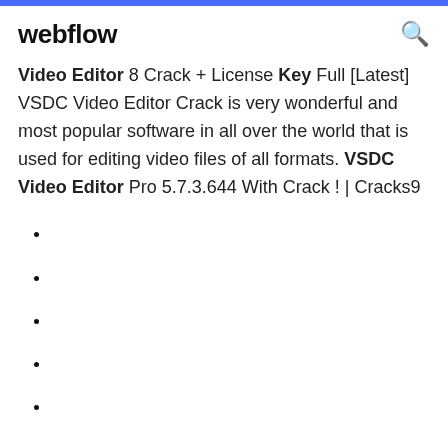webflow
Video Editor 8 Crack + License Key Full [Latest] VSDC Video Editor Crack is very wonderful and most popular software in all over the world that is used for editing video files of all formats. VSDC Video Editor Pro 5.7.3.644 With Crack ! | Cracks9